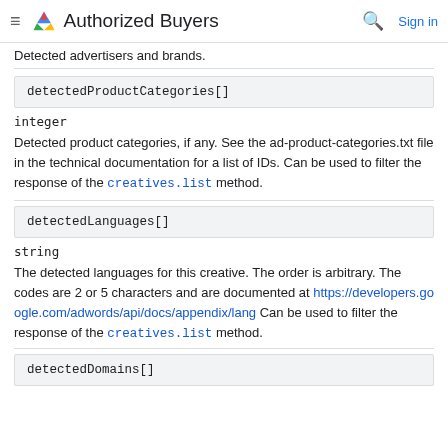Authorized Buyers
Detected advertisers and brands.
detectedProductCategories[]
integer
Detected product categories, if any. See the ad-product-categories.txt file in the technical documentation for a list of IDs. Can be used to filter the response of the creatives.list method.
detectedLanguages[]
string
The detected languages for this creative. The order is arbitrary. The codes are 2 or 5 characters and are documented at https://developers.google.com/adwords/api/docs/appendix/lang Can be used to filter the response of the creatives.list method.
detectedDomains[]